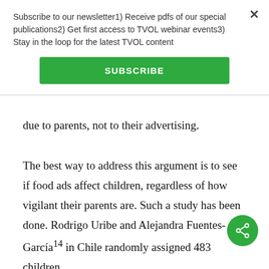Subscribe to our newsletter1) Receive pdfs of our special publications2) Get first access to TVOL webinar events3) Stay in the loop for the latest TVOL content
SUBSCRIBE
due to parents, not to their advertising.
The best way to address this argument is to see if food ads affect children, regardless of how vigilant their parents are. Such a study has been done. Rodrigo Uribe and Alejandra Fuentes-García¹⁴ in Chile randomly assigned 483 children